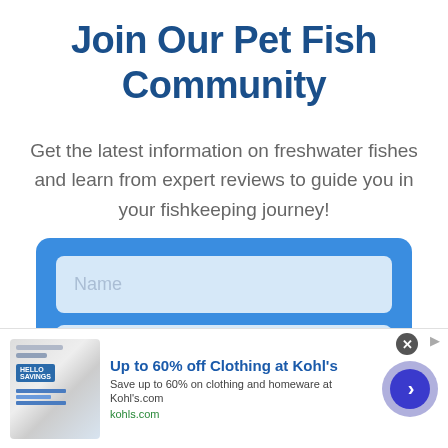Join Our Pet Fish Community
Get the latest information on freshwater fishes and learn from expert reviews to guide you in your fishkeeping journey!
[Figure (other): A sign-up form with a blue background, containing a Name input field, an Email input field, and a partially visible submit button at the bottom.]
[Figure (other): An advertisement banner for Kohl's: 'Up to 60% off Clothing at Kohl's. Save up to 60% on clothing and homeware at Kohl's.com. kohls.com' with a product image on the left and a circular arrow button on the right.]